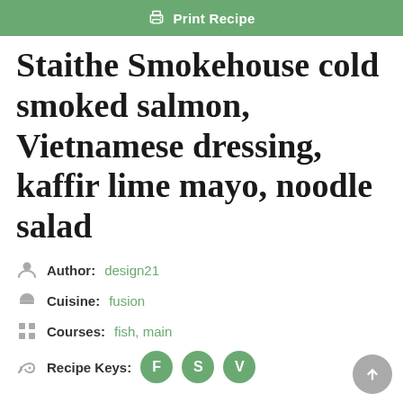Print Recipe
Staithe Smokehouse cold smoked salmon, Vietnamese dressing, kaffir lime mayo, noodle salad
Author: design21
Cuisine: fusion
Courses: fish, main
Recipe Keys: F S V